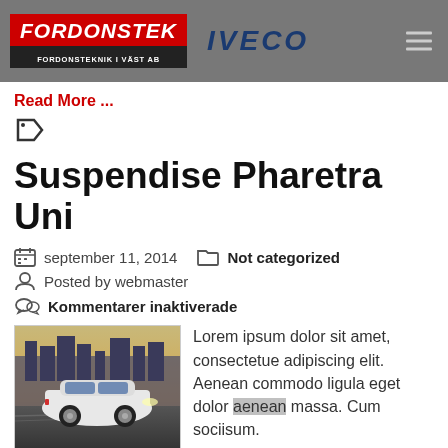FORDONSTEK FORDONSTEKNIK I VÄST AB | IVECO
Read More ...
Suspendise Pharetra Uni
september 11, 2014   Not categorized
Posted by webmaster
Kommentarer inaktiverade
[Figure (photo): White Porsche SUV driving in a city environment at dusk]
Lorem ipsum dolor sit amet, consectetue adipiscing elit. Aenean commodo ligula eget dolor aenean massa. Cum sociisum.